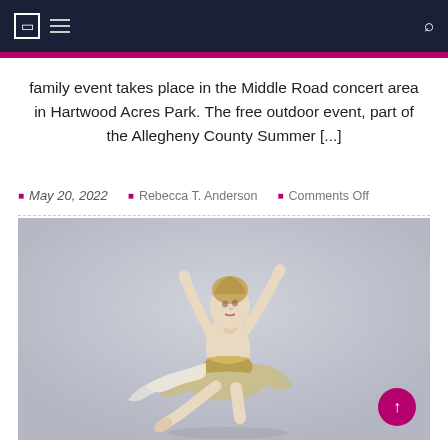Navigation bar with menu icon and search icon
family event takes place in the Middle Road concert area in Hartwood Acres Park. The free outdoor event, part of the Allegheny County Summer [...]
May 20, 2022   Rebecca T. Anderson   Comments Off
[Figure (photo): A ballet dancer in a white and gold costume leaping gracefully with arms raised above her head against a light grey background]